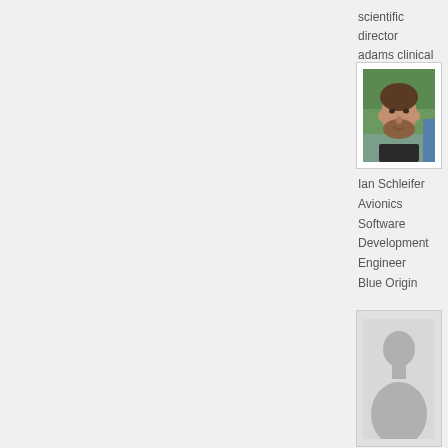scientific director
adams clinical
[Figure (photo): Profile photo of a man with short hair and beard, outdoors near water]
Ian Schleifer
Avionics Software Development Engineer
Blue Origin
[Figure (photo): Default placeholder silhouette profile image]